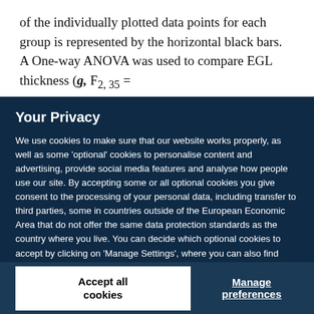of the individually plotted data points for each group is represented by the horizontal black bars. A One-way ANOVA was used to compare EGL thickness (g, F2, 35 =
Your Privacy
We use cookies to make sure that our website works properly, as well as some 'optional' cookies to personalise content and advertising, provide social media features and analyse how people use our site. By accepting some or all optional cookies you give consent to the processing of your personal data, including transfer to third parties, some in countries outside of the European Economic Area that do not offer the same data protection standards as the country where you live. You can decide which optional cookies to accept by clicking on 'Manage Settings', where you can also find more information about how your personal data is processed. Further information can be found in our privacy policy.
Accept all cookies
Manage preferences